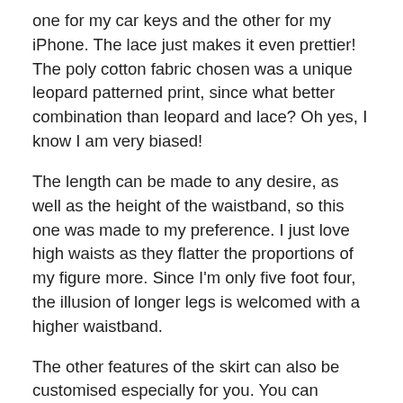one for my car keys and the other for my iPhone. The lace just makes it even prettier! The poly cotton fabric chosen was a unique leopard patterned print, since what better combination than leopard and lace? Oh yes, I know I am very biased!
The length can be made to any desire, as well as the height of the waistband, so this one was made to my preference. I just love high waists as they flatter the proportions of my figure more. Since I'm only five foot four, the illusion of longer legs is welcomed with a higher waistband.
The other features of the skirt can also be customised especially for you. You can choose to have any trim you like. Whether it be a pinch pleat like mine, pom-poms, lace or neatly hemmed, the choice is yours! Also, you have a